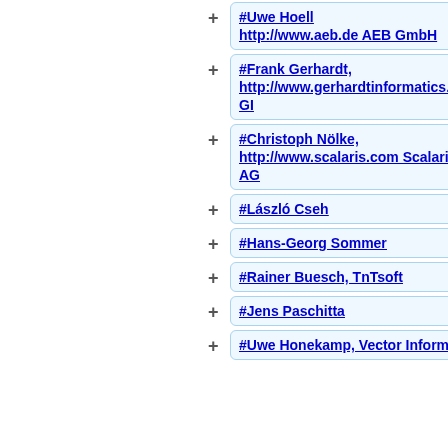#Uwe Hoell [http://www.aeb.de AEB GmbH]
#Frank Gerhardt, [http://www.gerhardtinformatics.com GI]
#Christoph Nölke, [http://www.scalaris.com Scalaris AG]
#László Cseh
#Hans-Georg Sommer
#Rainer Buesch, TnTsoft
#Jens Paschitta
#Uwe Honekamp, Vector Informatik